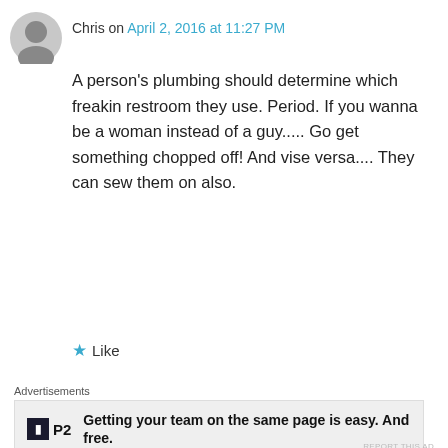Chris on April 2, 2016 at 11:27 PM
A person's plumbing should determine which freakin restroom they use. Period. If you wanna be a woman instead of a guy..... Go get something chopped off! And vise versa.... They can sew them on also.
★ Like
Advertisements
[Figure (screenshot): Advertisement for P2 product: logo showing a dark square with 'P' icon and 'P2' text, with bold text reading 'Getting your team on the same page is easy. And free.']
REPORT THIS AD
Advertisements
[Figure (screenshot): Advertisement with dark background showing an online course icon and text 'Launch your online course with WordPress' with a 'Learn More' button]